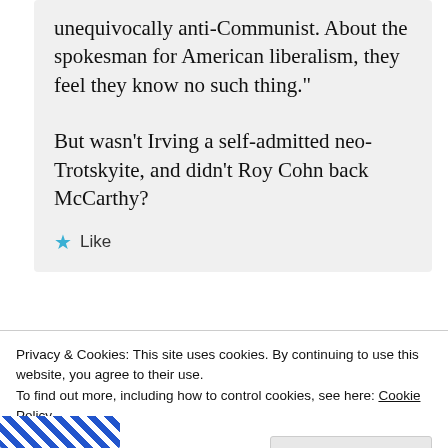unequivocally anti-Communist. About the spokesman for American liberalism, they feel they know no such thing."

But wasn't Irving a self-admitted neo-Trotskyite, and didn't Roy Cohn back McCarthy?
Like
Privacy & Cookies: This site uses cookies. By continuing to use this website, you agree to their use.
To find out more, including how to control cookies, see here: Cookie Policy
Close and accept